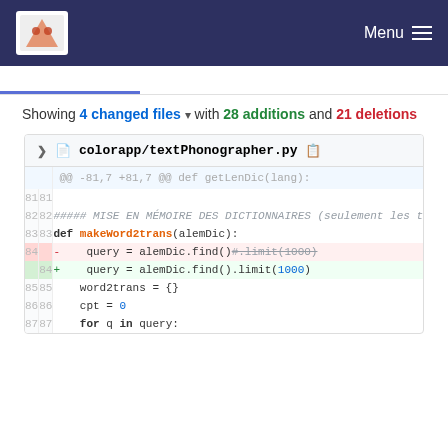Menu
Showing 4 changed files with 28 additions and 21 deletions
[Figure (screenshot): Code diff view showing colorapp/textPhonographer.py with lines 81-87, including a deleted line 84 with alemDic.find()#.limit(1000) and an added line 84 with alemDic.find().limit(1000)]